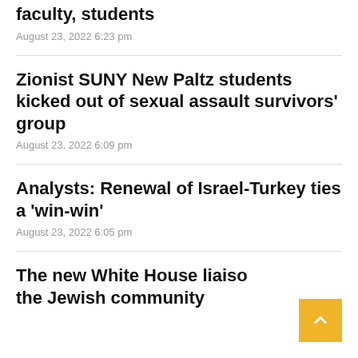faculty, students
August 23, 2022 6:23 pm
Zionist SUNY New Paltz students kicked out of sexual assault survivors' group
August 23, 2022 6:09 pm
Analysts: Renewal of Israel-Turkey ties a 'win-win'
August 23, 2022 6:05 pm
The new White House liaiso the Jewish community